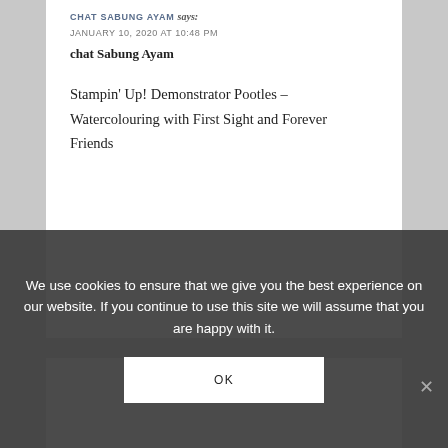CHAT SABUNG AYAM says:
JANUARY 10, 2020 AT 10:48 PM
chat Sabung Ayam
Stampin' Up! Demonstrator Pootles – Watercolouring with First Sight and Forever Friends
We use cookies to ensure that we give you the best experience on our website. If you continue to use this site we will assume that you are happy with it.
OK